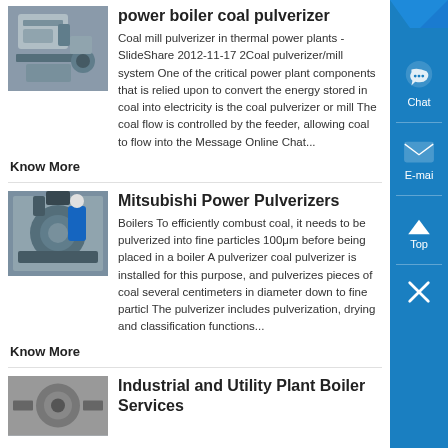power boiler coal pulverizer
[Figure (photo): Industrial machinery photo - coal pulverizer equipment]
Coal mill pulverizer in thermal power plants - SlideShare 2012-11-17 2Coal pulverizer/mill system One of the critical power plant components that is relied upon to convert the energy stored in coal into electricity is the coal pulverizer or mill The coal flow is controlled by the feeder, allowing coal to flow into the Message Online Chat...
Know More
Mitsubishi Power Pulverizers
[Figure (photo): Industrial photo - Mitsubishi power pulverizer equipment]
Boilers To efficiently combust coal, it needs to be pulverized into fine particles 100μm before being placed in a boiler A pulverizer coal pulverizer is installed for this purpose, and pulverizes pieces of coal several centimeters in diameter down to fine particl The pulverizer includes pulverization, drying and classification functions...
Know More
Industrial and Utility Plant Boiler Services
[Figure (photo): Industrial boiler component photo]